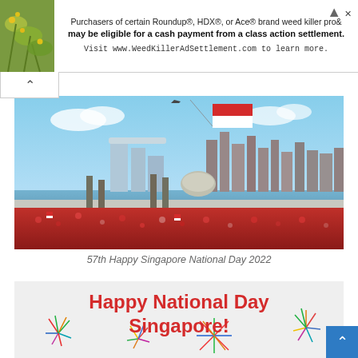[Figure (infographic): Advertisement banner: flower/plant photo on left, text about Roundup/HDX/Ace weed killer class action settlement, visit WeedKillerAdSettlement.com]
[Figure (photo): Singapore National Day celebration panoramic photo showing Marina Bay Sands, city skyline, Singapore flag being flown by aircraft, large crowd in red and white]
57th Happy Singapore National Day 2022
[Figure (illustration): Greeting card with colourful fireworks illustrations on light grey background, text reading Happy National Day Singapore! in red]